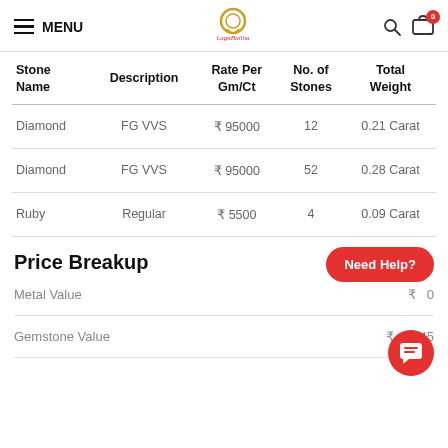MENU | LagaBaitha | Search | Cart (0)
| Stone Name | Description | Rate Per Gm/Ct | No. of Stones | Total Weight |
| --- | --- | --- | --- | --- |
| Diamond | FG VVS | ₹ 95000 | 12 | 0.21 Carat |
| Diamond | FG VVS | ₹ 95000 | 52 | 0.28 Carat |
| Ruby | Regular | ₹ 5500 | 4 | 0.09 Carat |
Price Breakup
Metal Value
Gemstone Value ₹ 47045